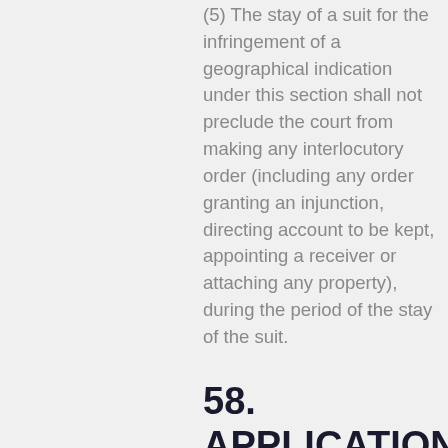(5) The stay of a suit for the infringement of a geographical indication under this section shall not preclude the court from making any interlocutory order (including any order granting an injunction, directing account to be kept, appointing a receiver or attaching any property), during the period of the stay of the suit.
58. APPLICATION FOR RECTIFICATION OF REGISTER BE MADE TO HIGH COURT IN CERTAIN CASES.
(1) Where in a suit for infringement of a registered geographical indication the validity of the registration of the geographical indication relating to plaintiff is questioned by the defendant or